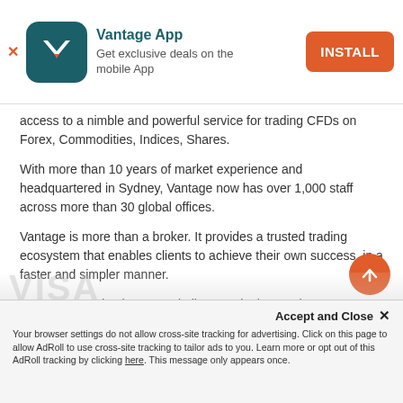[Figure (screenshot): Vantage App install banner with teal app icon showing a white V/arrow logo, app title 'Vantage App', subtitle 'Get exclusive deals on the mobile App', and an orange INSTALL button on the right. An X close button on the top left.]
access to a nimble and powerful service for trading CFDs on Forex, Commodities, Indices, Shares.
With more than 10 years of market experience and headquartered in Sydney, Vantage now has over 1,000 staff across more than 30 global offices.
Vantage is more than a broker. It provides a trusted trading ecosystem that enables clients to achieve their own success, in a faster and simpler manner.
Be empowered to better capitalise on winning market opportunities when you trade smarter @vantage.
Accept and Close ✕
Your browser settings do not allow cross-site tracking for advertising. Click on this page to allow AdRoll to use cross-site tracking to tailor ads to you. Learn more or opt out of this AdRoll tracking by clicking here. This message only appears once.